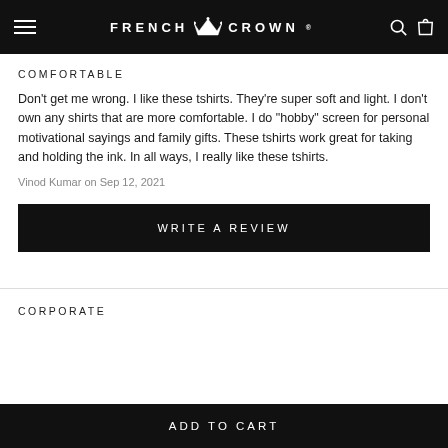FRENCH CROWN
COMFORTABLE
Don't get me wrong. I like these tshirts. They're super soft and light. I don't own any shirts that are more comfortable. I do "hobby" screen for personal motivational sayings and family gifts. These tshirts work great for taking and holding the ink. In all ways, I really like these tshirts.
Vinod Kumar on Sep 12, 2021
WRITE A REVIEW
CORPORATE
ADD TO CART